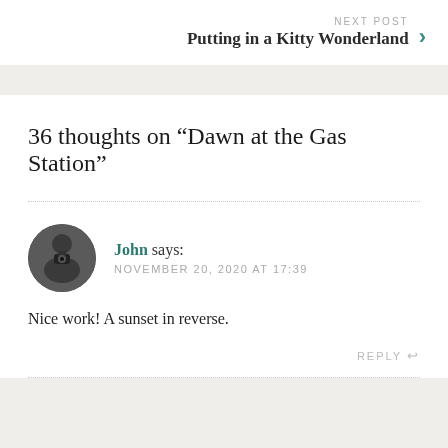NEXT POST
Putting in a Kitty Wonderland
36 thoughts on “Dawn at the Gas Station”
John says:
NOVEMBER 20, 2020 AT 17:39
Nice work! A sunset in reverse.
REPLY